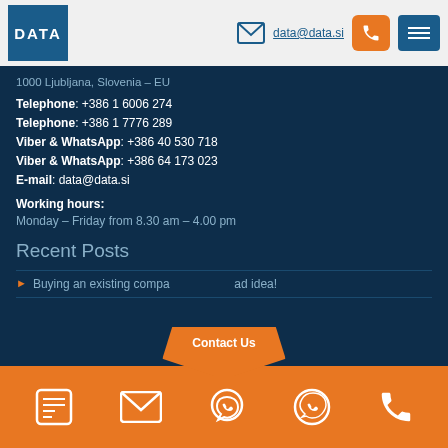DATA | data@data.si
1000 Ljubljana, Slovenia – EU
Telephone: +386 1 6006 274
Telephone: +386 1 7776 289
Viber & WhatsApp: +386 40 530 718
Viber & WhatsApp: +386 64 173 023
E-mail: data@data.si
Working hours:
Monday – Friday from 8.30 am – 4.00 pm
Recent Posts
Buying an existing company... bad idea!
Contact Us